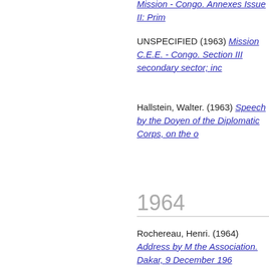UNSPECIFIED (1963) Mission C.E.E. - Congo. Section III secondary sector; inc
Hallstein, Walter. (1963) Speech by the Doyen of the Diplomatic Corps, on the c
1964
Rochereau, Henri. (1964) Address by M the Association. Dakar, 9 December 196
UNSPECIFIED (1964) Conférence parle africains et malgache. Procès-verbaux d européennes, 7th année no. 218, 30 dé Economic Community and the African S of the European Communities, 7th year
UNSPECIFIED (1964) Courrier de l'Ass Document]